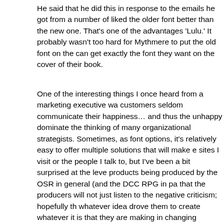He said that he did this in response to the emails he got from a number of people who liked the older font better than the new one. That's one of the advantages of publishing via 'Lulu.' It probably wasn't too hard for Mythmere to put the old font on the cover, and people can get exactly the font they want on the cover of their book.
One of the interesting things I once heard from a marketing executive was that happy customers seldom communicate their happiness… and thus the unhappy customers dominate the thinking of many organizational strategists. Sometimes, as with multiple font options, it's relatively easy to offer multiple solutions that will make everyone happy. The sites I visit or the people I talk to, but I've been a bit surprised at the level of quality of products being produced by the OSR in general (and the DCC RPG in particular). I hope that the producers will not just listen to the negative criticism; hopefully they will stick with whatever idea drove them to create whatever it is that they are making instead of just changing everything up in hopes of making some grouchy pants somewhere happy.
As one example, I've heard a lot of people bitching that Swords & Wizardry is 'too much like old D&D.' "We already have circa 1982 D&D," these naysayers say, "it's just a game with a new cover and a few superficial changes. We can play the Moldvay rules. We don't need a facsimile." I guess that's true… but even if Mythmere (or anyone) riffs off of Swords & Wizardry, what if the process of putting it together was great? What if the book gets people to pick up the dice and play? We probably don't really